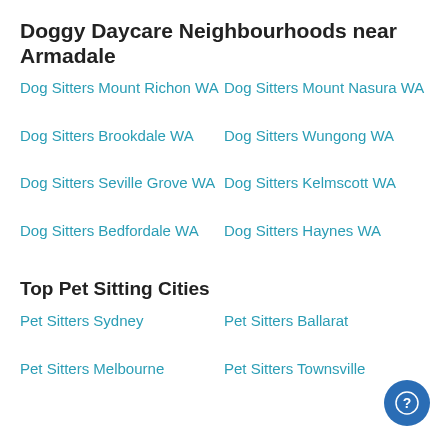Doggy Daycare Neighbourhoods near Armadale
Dog Sitters Mount Richon WA
Dog Sitters Mount Nasura WA
Dog Sitters Brookdale WA
Dog Sitters Wungong WA
Dog Sitters Seville Grove WA
Dog Sitters Kelmscott WA
Dog Sitters Bedfordale WA
Dog Sitters Haynes WA
Top Pet Sitting Cities
Pet Sitters Sydney
Pet Sitters Ballarat
Pet Sitters Melbourne
Pet Sitters Townsville